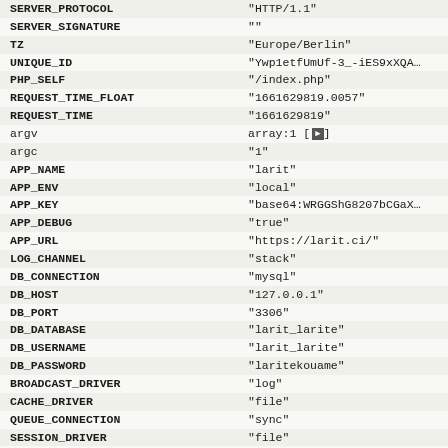| Key | Value |
| --- | --- |
| SERVER_PROTOCOL | "HTTP/1.1" |
| SERVER_SIGNATURE | "" |
| TZ | "Europe/Berlin" |
| UNIQUE_ID | "Ywp1etfUmUf-3_-iES9xXQA..." |
| PHP_SELF | "/index.php" |
| REQUEST_TIME_FLOAT | "1661629819.0057" |
| REQUEST_TIME | "1661629819" |
| argv | array:1 [▶] |
| argc | "1" |
| APP_NAME | "larit" |
| APP_ENV | "local" |
| APP_KEY | "base64:WRGGShG8207bCGaX..." |
| APP_DEBUG | "true" |
| APP_URL | "https://larit.ci/" |
| LOG_CHANNEL | "stack" |
| DB_CONNECTION | "mysql" |
| DB_HOST | "127.0.0.1" |
| DB_PORT | "3306" |
| DB_DATABASE | "larit_larite" |
| DB_USERNAME | "larit_larite" |
| DB_PASSWORD | "laritekouame" |
| BROADCAST_DRIVER | "log" |
| CACHE_DRIVER | "file" |
| QUEUE_CONNECTION | "sync" |
| SESSION_DRIVER | "file" |
| SESSION_LIFETIME | "120" |
| REDIS_HOST | "127.0.0.1" |
| REDIS_PASSWORD | "null" |
| REDIS_PORT | "6379" |
| MAIL_DRIVER | "smtp" |